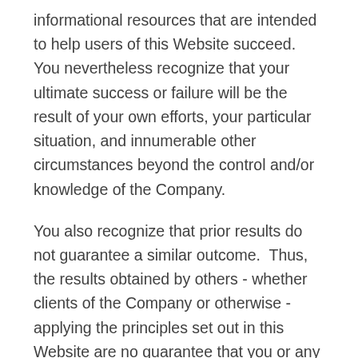informational resources that are intended to help users of this Website succeed. You nevertheless recognize that your ultimate success or failure will be the result of your own efforts, your particular situation, and innumerable other circumstances beyond the control and/or knowledge of the Company.
You also recognize that prior results do not guarantee a similar outcome.  Thus, the results obtained by others - whether clients of the Company or otherwise - applying the principles set out in this Website are no guarantee that you or any other person or entity will be able to obtain similar results.
Email And Other Electronic Communications